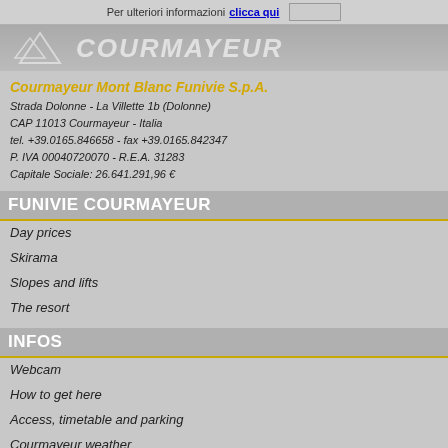Per ulteriori informazioni clicca qui
[Figure (logo): COURMAYEUR logo with star/arrow graphic on grey background]
Courmayeur Mont Blanc Funivie S.p.A.
Strada Dolonne - La Villette 1b (Dolonne)
CAP 11013 Courmayeur - Italia
tel. +39.0165.846658 - fax +39.0165.842347
P. IVA 00040720070 - R.E.A. 31283
Capitale Sociale: 26.641.291,96 €
FUNIVIE COURMAYEUR
Day prices
Skirama
Slopes and lifts
The resort
INFOS
Webcam
How to get here
Access, timetable and parking
Courmayeur weather
CONTACTS
Società trasparente
L.R. 20/2016
Contacts
Invitiation to tender